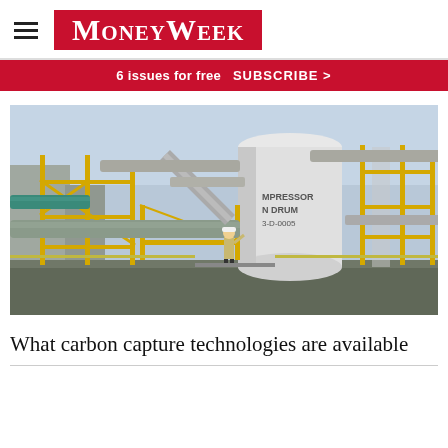MoneyWeek
6 issues for free  SUBSCRIBE >
[Figure (photo): Industrial carbon capture plant with yellow scaffolding, pipes, a large white cylindrical compressor drum tank, and a worker in a hard hat standing on a platform]
What carbon capture technologies are available